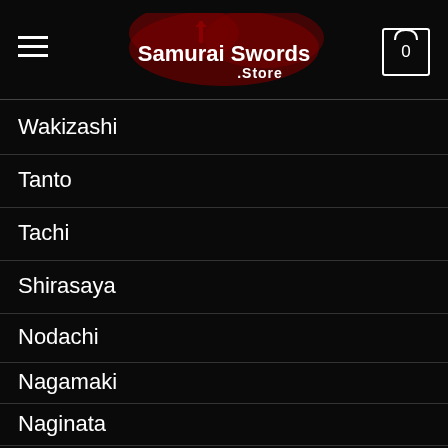Samurai Swords .Store
Wakizashi
Tanto
Tachi
Shirasaya
Nodachi
Nagamaki
Naginata
Sword Set
OTHER